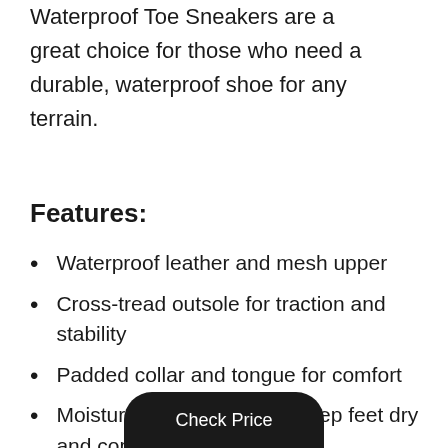Waterproof Toe Sneakers are a great choice for those who need a durable, waterproof shoe for any terrain.
Features:
Waterproof leather and mesh upper
Cross-tread outsole for traction and stability
Padded collar and tongue for comfort
Moisture-wicking lining to keep feet dry and comfortable
Check Price